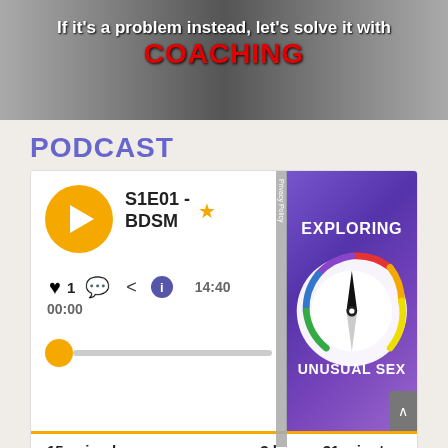[Figure (photo): Banner image with text overlay: 'If it's a problem instead, let's solve it with COACHING' on a textured background]
PODCAST
[Figure (screenshot): Podcast player card for S1E01 - BDSM from 'Exploring Unusual Sex' podcast. Shows play button, heart/chat/share/info icons, timestamps 00:00 and 14:40, scrubber bar. Right side shows podcast cover art with compass graphic and text 'EXPLORING UNUSUAL SEX'. Bottom shows 15 episodes, 3 hours, 31 minutes.]
15 episodes
3 hours, 31 minutes
UNUSUAL